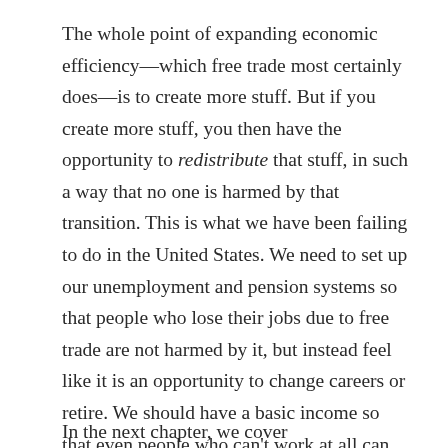The whole point of expanding economic efficiency—which free trade most certainly does—is to create more stuff. But if you create more stuff, you then have the opportunity to redistribute that stuff, in such a way that no one is harmed by that transition. This is what we have been failing to do in the United States. We need to set up our unemployment and pension systems so that people who lose their jobs due to free trade are not harmed by it, but instead feel like it is an opportunity to change careers or retire. We should have a basic income so that even people who can't work at all can still live with dignity. This redistribution will not happen automatically; it is a policy choice we must make.
In the next chapter, we cover...